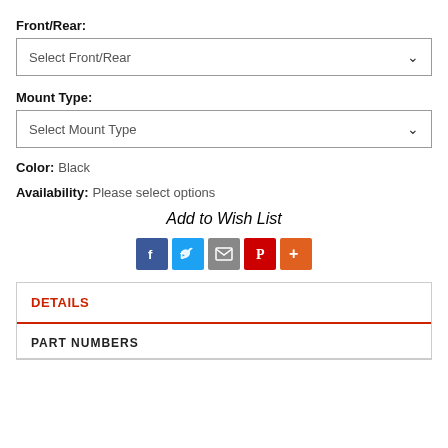Front/Rear:
Select Front/Rear
Mount Type:
Select Mount Type
Color: Black
Availability: Please select options
Add to Wish List
[Figure (infographic): Social sharing icons: Facebook, Twitter, Email, Pinterest, More]
DETAILS
PART NUMBERS